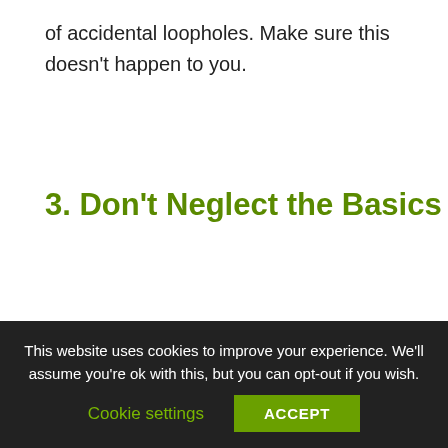of accidental loopholes. Make sure this doesn't happen to you.
3. Don't Neglect the Basics
Cybersecurity is a fast-paced and constantly
This website uses cookies to improve your experience. We'll assume you're ok with this, but you can opt-out if you wish.
Cookie settings
ACCEPT